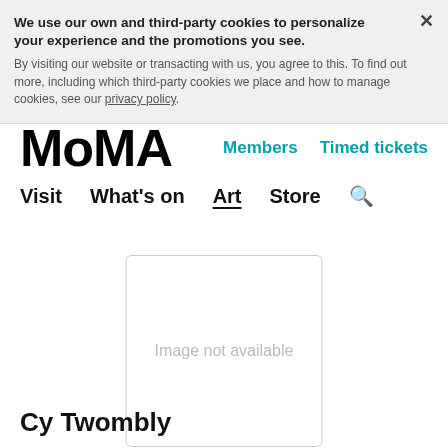We use our own and third-party cookies to personalize your experience and the promotions you see. By visiting our website or transacting with us, you agree to this. To find out more, including which third-party cookies we place and how to manage cookies, see our privacy policy.
MoMA
Members   Timed tickets
Visit   What's on   Art   Store   🔍
[Figure (other): Image not available placeholder box]
Cy Twombly